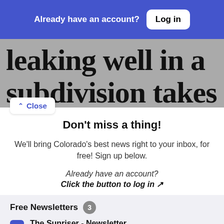Already have an account? Log in
leaking well in a subdivision takes
Close
Don't miss a thing!
We'll bring Colorado's best news right to your inbox, for free! Sign up below.
Already have an account? Click the button to log in ↗
Free Newsletters 3
The Sunriser - Newsletter
A guided tour through the best in Colorado journalism. Every